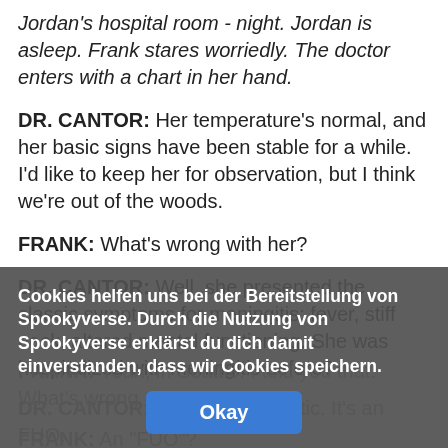Jordan's hospital room - night. Jordan is asleep. Frank stares worriedly. The doctor enters with a chart in her hand.
DR. CANTOR: Her temperature's normal, and her basic signs have been stable for a while. I'd like to keep her for observation, but I think we're out of the woods.
FRANK: What's wrong with her?
DR. CANTOR: Well, she presented the classic symptoms for meningitis: fever, stiff neck, altered mental functioning. She was hospitalized with meningitis before?
FRANK: Yeah, in Seattle. I told you that. What's wrong
DR. CANTOR: Nothing diagnostic. It's an FUO.
FRANK: An "FUO"?
Cookies helfen uns bei der Bereitstellung von Spookyverse. Durch die Nutzung von Spookyverse erklärst du dich damit einverstanden, dass wir Cookies speichern.
Okay